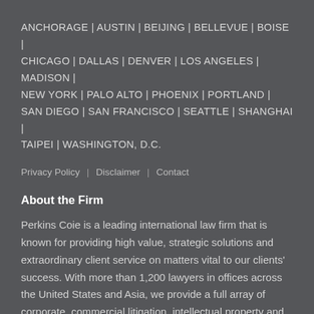ANCHORAGE | AUSTIN | BEIJING | BELLEVUE | BOISE | CHICAGO | DALLAS | DENVER | LOS ANGELES | MADISON | NEW YORK | PALO ALTO | PHOENIX | PORTLAND | SAN DIEGO | SAN FRANCISCO | SEATTLE | SHANGHAI | TAIPEI | WASHINGTON, D.C.
Privacy Policy | Disclaimer | Contact
About the Firm
Perkins Coie is a leading international law firm that is known for providing high value, strategic solutions and extraordinary client service on matters vital to our clients' success. With more than 1,200 lawyers in offices across the United States and Asia, we provide a full array of corporate, commercial litigation, intellectual property and regulatory legal advice to a broad range of clients, including many of the world's most innovative companies and industry leaders as